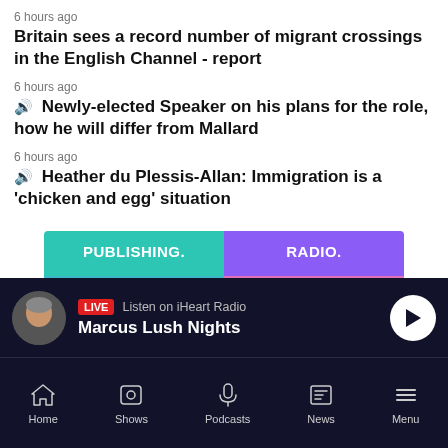6 hours ago
Britain sees a record number of migrant crossings in the English Channel - report
6 hours ago
🔊 Newly-elected Speaker on his plans for the role, how he will differ from Mallard
6 hours ago
🔊 Heather du Plessis-Allan: Immigration is a 'chicken and egg' situation
[Figure (infographic): Advertisement banner split into two halves: left teal panel labeled PUBLISHING. with a man in blue shirt holding a mug and tablet; right purple panel labeled RADIO. with a man wearing headphones.]
[Figure (screenshot): Live radio bar at bottom: avatar of presenter, LIVE badge, Listen on iHeart Radio, Marcus Lush Nights, play button]
[Figure (screenshot): Bottom navigation bar with Home, Shows, Podcasts, News, Menu icons]